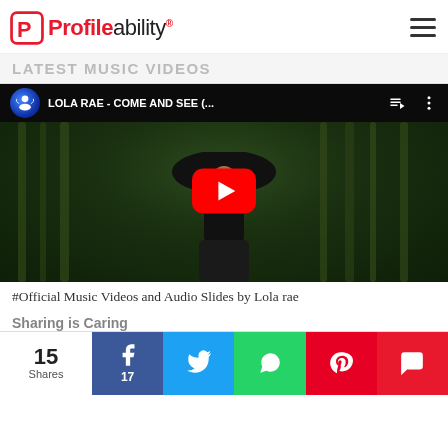Profileability
LATEST MUSIC VIDEOS
[Figure (screenshot): YouTube embedded video player showing 'LOLA RAE - COME AND SEE (...' with a red play button overlay, featuring a woman in a large black hat against a bamboo background]
#Official Music Videos and Audio Slides by Lola rae
Sharing is Caring
15 Shares · 17 Facebook shares